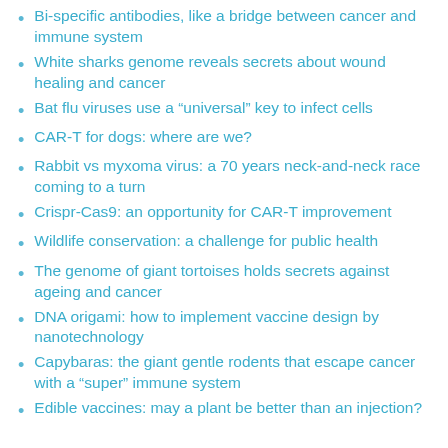Bi-specific antibodies, like a bridge between cancer and immune system
White sharks genome reveals secrets about wound healing and cancer
Bat flu viruses use a “universal” key to infect cells
CAR-T for dogs: where are we?
Rabbit vs myxoma virus: a 70 years neck-and-neck race coming to a turn
Crispr-Cas9: an opportunity for CAR-T improvement
Wildlife conservation: a challenge for public health
The genome of giant tortoises holds secrets against ageing and cancer
DNA origami: how to implement vaccine design by nanotechnology
Capybaras: the giant gentle rodents that escape cancer with a “super” immune system
Edible vaccines: may a plant be better than an injection?